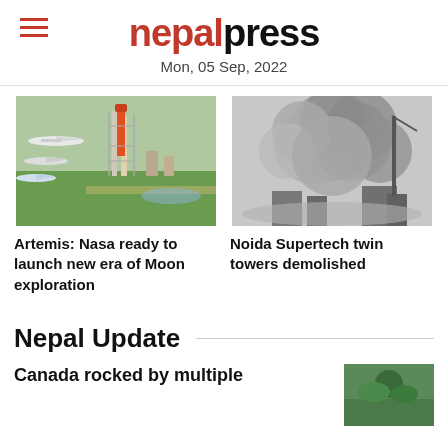nepalpress
Mon, 05 Sep, 2022
[Figure (photo): Aerial view of a NASA rocket on launch pad with airplanes flying overhead]
Artemis: Nasa ready to launch new era of Moon exploration
[Figure (photo): Large cloud of dust and debris from demolition of Noida Supertech twin towers]
Noida Supertech twin towers demolished
Nepal Update
Canada rocked by multiple